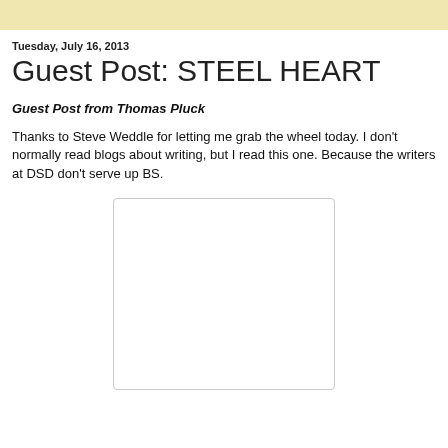Tuesday, July 16, 2013
Guest Post: STEEL HEART
Guest Post from Thomas Pluck
Thanks to Steve Weddle for letting me grab the wheel today. I don't normally read blogs about writing, but I read this one. Because the writers at DSD don't serve up BS.
[Figure (other): White rectangular image placeholder with light border]